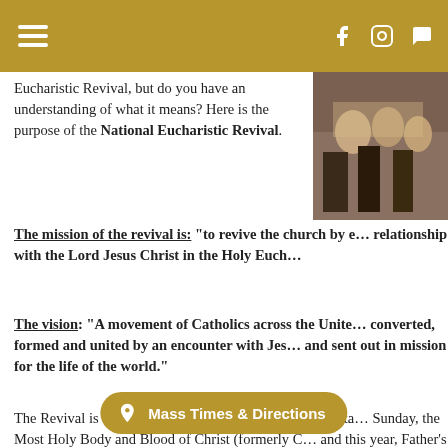Navigation header with hamburger menu and social icons (Facebook, Instagram, chat)
Eucharistic Revival, but do you have an understanding of what it means? Here is the purpose of the National Eucharistic Revival.
[Figure (photo): Photo of a congregation or religious gathering, partially visible on right side]
The mission of the revival is: "to revive the church by enkindling a living relationship with the Lord Jesus Christ in the Holy Eucharist"
The vision: "A movement of Catholics across the United States that is converted, formed and united by an encounter with Jesus in the Eucharist, and sent out in mission for the life of the world."
The Revival is a process and the Bishops of the United States chose Corpus Sunday, the Most Holy Body and Blood of Christ (formerly Corpus Christi, and this year, Father's Day) as the beginning of the Diocesan phase of celebrating the revival. The Diocese will have a holy hour at 3 pm today Sunday June 1... have a simultaneous Holy Hour. Most Holy Redeemer will H